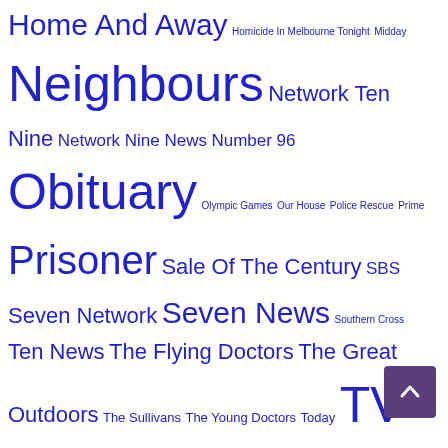Home And Away Homicide In Melbourne Tonight Midday Neighbours Network Ten Nine Network Nine News Number 96 Obituary Olympic Games Our House Police Rescue Prime Prisoner Sale Of The Century SBS Seven Network Seven News Southern Cross Ten News The Flying Doctors The Great Outdoors The Sullivans The Young Doctors Today TV Week Logie Awards WIN
RECENT COMMENTS
DAA on Obituary: Terry McDermott
mark on Obituary: Vince Gil
Andrew B on 50 years of TNT9 Launceston
Debbie Clarke on 50 years of TNT9 Launceston
Herbie on 1979-1979